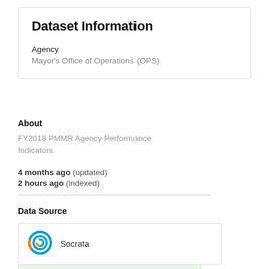Dataset Information
Agency
Mayor's Office of Operations (OPS)
About
FY2018 PMMR Agency Performance Indicators
4 months ago (updated)
2 hours ago (indexed)
Data Source
[Figure (logo): Socrata logo — circular target/spiral icon in teal and orange, with the text 'Socrata' to the right]
Live querying available